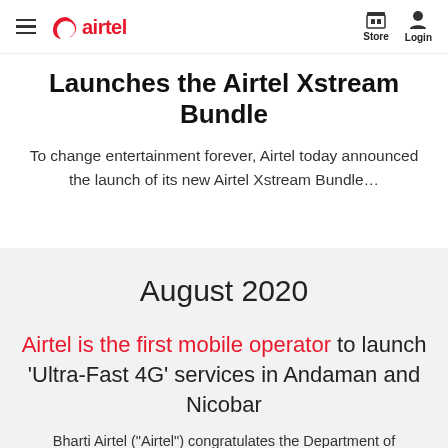Airtel — Store | Login
Launches the Airtel Xstream Bundle
To change entertainment forever, Airtel today announced the launch of its new Airtel Xstream Bundle...
August 2020
Airtel is the first mobile operator to launch ‘Ultra-Fast 4G’ services in Andaman and Nicobar
Bharti Airtel (“Airtel”) congratulates the Department of